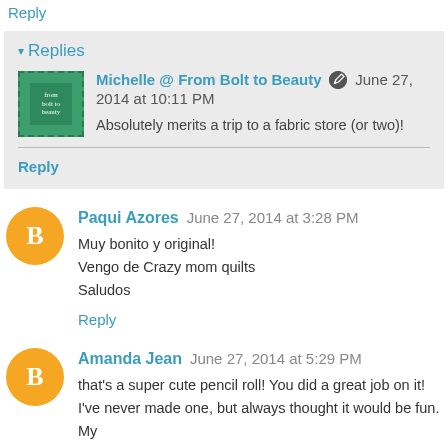Reply
▾ Replies
Michelle @ From Bolt to Beauty  June 27, 2014 at 10:11 PM
Absolutely merits a trip to a fabric store (or two)!
Reply
Paqui Azores  June 27, 2014 at 3:28 PM
Muy bonito y original!
Vengo de Crazy mom quilts
Saludos
Reply
Amanda Jean  June 27, 2014 at 5:29 PM
that's a super cute pencil roll! You did a great job on it! I've never made one, but always thought it would be fun. My